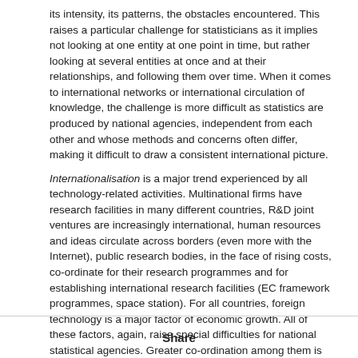its intensity, its patterns, the obstacles encountered. This raises a particular challenge for statisticians as it implies not looking at one entity at one point in time, but rather looking at several entities at once and at their relationships, and following them over time. When it comes to international networks or international circulation of knowledge, the challenge is more difficult as statistics are produced by national agencies, independent from each other and whose methods and concerns often differ, making it difficult to draw a consistent international picture.
Internationalisation is a major trend experienced by all technology-related activities. Multinational firms have research facilities in many different countries, R&D joint ventures are increasingly international, human resources and ideas circulate across borders (even more with the Internet), public research bodies, in the face of rising costs, co-ordinate for their research programmes and for establishing international research facilities (EC framework programmes, space station). For all countries, foreign technology is a major factor of economic growth. All of these factors, again, raise special difficulties for national statistical agencies. Greater co-ordination among them is needed, in order to put in place common definitions and procedures for the collection of data. The ongoing OECD work on a "globalisation manual" is a step in this direction, following on from the collection of data of R&D performed by affiliates of foreign multinationals which started in the mid-1990s (OECD,
Share